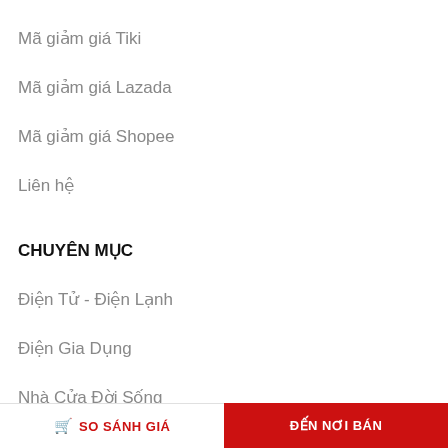Mã giảm giá Tiki
Mã giảm giá Lazada
Mã giảm giá Shopee
Liên hệ
CHUYÊN MỤC
Điện Tử - Điện Lạnh
Điện Gia Dụng
Nhà Cửa Đời Sống
SO SÁNH GIÁ   ĐẾN NƠI BÁN